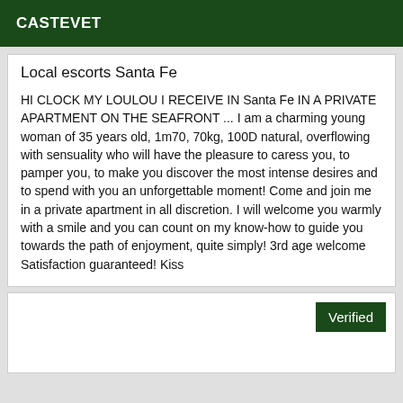CASTEVET
Local escorts Santa Fe
HI CLOCK MY LOULOU I RECEIVE IN Santa Fe IN A PRIVATE APARTMENT ON THE SEAFRONT ... I am a charming young woman of 35 years old, 1m70, 70kg, 100D natural, overflowing with sensuality who will have the pleasure to caress you, to pamper you, to make you discover the most intense desires and to spend with you an unforgettable moment! Come and join me in a private apartment in all discretion. I will welcome you warmly with a smile and you can count on my know-how to guide you towards the path of enjoyment, quite simply! 3rd age welcome Satisfaction guaranteed! Kiss
Verified